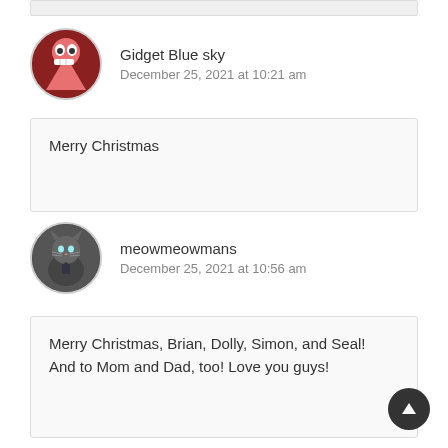Gidget Blue sky
December 25, 2021 at 10:21 am
Merry Christmas
meowmeowmans
December 25, 2021 at 10:56 am
Merry Christmas, Brian, Dolly, Simon, and Seal! And to Mom and Dad, too! Love you guys!